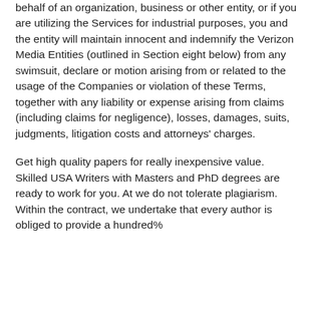behalf of an organization, business or other entity, or if you are utilizing the Services for industrial purposes, you and the entity will maintain innocent and indemnify the Verizon Media Entities (outlined in Section eight below) from any swimsuit, declare or motion arising from or related to the usage of the Companies or violation of these Terms, together with any liability or expense arising from claims (including claims for negligence), losses, damages, suits, judgments, litigation costs and attorneys' charges.
Get high quality papers for really inexpensive value. Skilled USA Writers with Masters and PhD degrees are ready to work for you. At we do not tolerate plagiarism. Within the contract, we undertake that every author is obliged to provide a hundred%